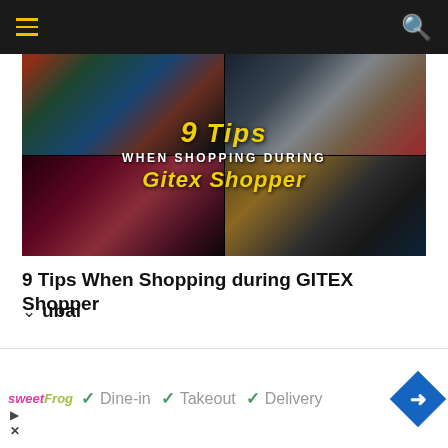Navigation bar with hamburger menu and search icon
[Figure (photo): Collage of four photos: crowded tech expo hall, camera displays, bottles/accessories on shelves, tablets on display table, and hand holding smartphone. Overlaid text reads '9 Tips WHEN SHOPPING DURING GITEX Shopper']
9 Tips When Shopping during GITEX Shopper
Dubai
[Figure (infographic): Advertisement banner for sweetFrog showing checkmarks next to Dine-in, Takeout, and Delivery options, with a blue diamond navigation icon on the right]